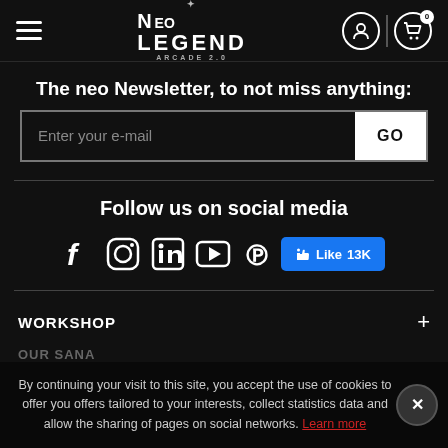Neo Legend Arcade 2.0 – navigation header with hamburger menu, logo, user icon, cart icon
The neo Newsletter, to not miss anything:
Enter your e-mail [GO button]
Follow us on social media
[Figure (infographic): Social media icons: Facebook, Instagram, LinkedIn, YouTube, Pinterest, and a Facebook Like button showing 13K likes]
WORKSHOP
By continuing your visit to this site, you accept the use of cookies to offer you offers tailored to your interests, collect statistics data and allow the sharing of pages on social networks. Learn more